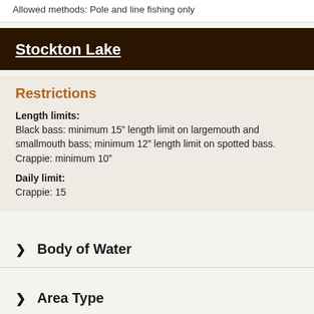Allowed methods: Pole and line fishing only
Stockton Lake
Restrictions
Length limits:
Black bass: minimum 15” length limit on largemouth and smallmouth bass; minimum 12” length limit on spotted bass.
Crappie: minimum 10”
Daily limit:
Crappie: 15
Body of Water
Area Type